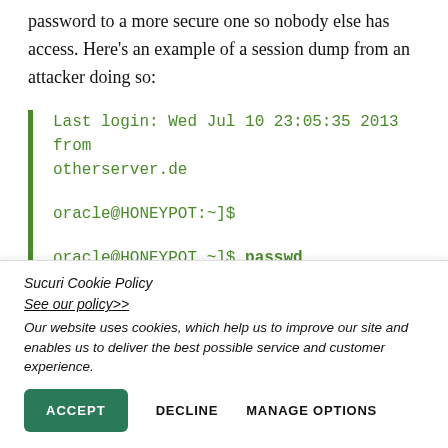password to a more secure one so nobody else has access. Here's an example of a session dump from an attacker doing so:
Last login: Wed Jul 10 23:05:35 2013 from otherserver.de

oracle@HONEYPOT:~]$

oracle@HONEYPOT ~]$ passwd
Sucuri Cookie Policy
See our policy>>
Our website uses cookies, which help us to improve our site and enables us to deliver the best possible service and customer experience.
ACCEPT   DECLINE   MANAGE OPTIONS